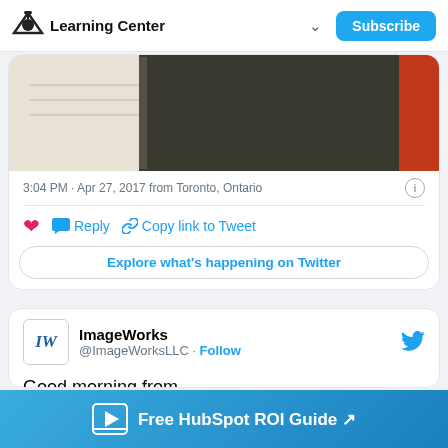Learning Center | Subscribe
[Figure (screenshot): Top portion of a tweet card showing a photo of a notebook/journal with a red spine on a desk]
3:04 PM · Apr 27, 2017 from Toronto, Ontario
♥  Reply   Copy link to Tweet
Explore what's happening on Twitter
ImageWorks @ImageWorksLLC · Follow
Good morning from #HubSpotPartnerDay2017!
Free HubSpot ROI Guide ↗